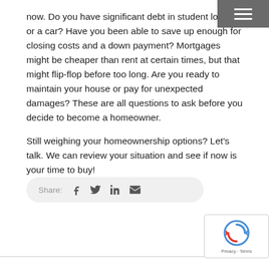now. Do you have significant debt in student loans or a car? Have you been able to save up enough for closing costs and a down payment? Mortgages might be cheaper than rent at certain times, but that might flip-flop before too long. Are you ready to maintain your house or pay for unexpected damages? These are all questions to ask before you decide to become a homeowner.
Still weighing your homeownership options? Let's talk. We can review your situation and see if now is your time to buy!
[Figure (other): Share bar with social media icons: Facebook, Twitter, LinkedIn, Email]
[Figure (other): reCAPTCHA badge with Privacy and Terms links]